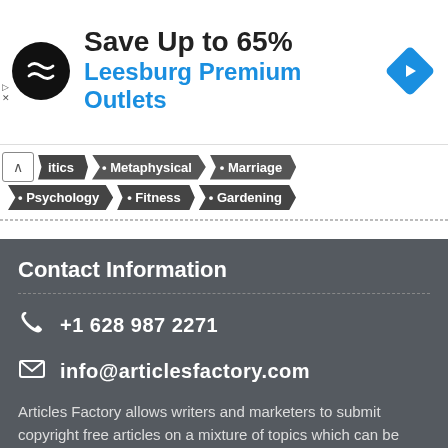[Figure (illustration): Advertisement banner: circular black logo with overlapping arrows, text 'Save Up to 65% Leesburg Premium Outlets', blue diamond navigation icon on right]
• itics
• Metaphysical
• Marriage
• Psychology
• Fitness
• Gardening
Contact Information
+1 628 987 2271
info@articlesfactory.com
Articles Factory allows writers and marketers to submit copyright free articles on a mixture of topics which can be distributed with no charge on websites, blogs, and print newsletters.